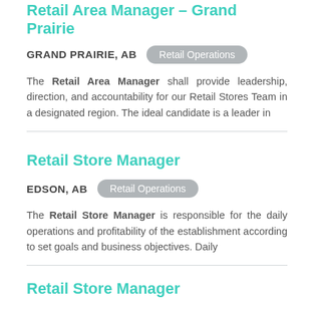Retail Area Manager – Grand Prairie
GRAND PRAIRIE, AB   Retail Operations
The Retail Area Manager shall provide leadership, direction, and accountability for our Retail Stores Team in a designated region. The ideal candidate is a leader in
Retail Store Manager
EDSON, AB   Retail Operations
The Retail Store Manager is responsible for the daily operations and profitability of the establishment according to set goals and business objectives. Daily
Retail Store Manager